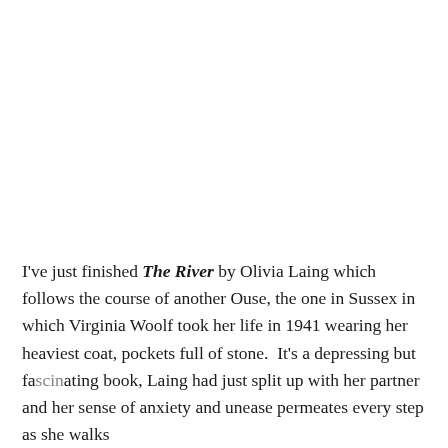I've just finished The River by Olivia Laing which follows the course of another Ouse, the one in Sussex in which Virginia Woolf took her life in 1941 wearing her heaviest coat, pockets full of stone.  It's a depressing but fascinating book, Laing had just split up with her partner and her sense of anxiety and unease permeates every step as she walks